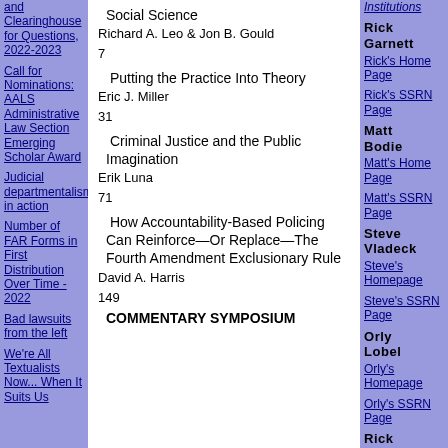and Clearinghouse for Questions, 2022-2023
Call for Nominations: AALS Administrative Law Section Emerging Scholar Award
Judicial departmentalism in action
Number of FAR Forms in First Distribution Over Time - 2022
Bad lawsuits from the left
We're All Textualists Now... When It Suits Us
Social Science
Richard A. Leo & Jon B. Gould
7
Putting the Practice Into Theory
Eric J. Miller
31
Criminal Justice and the Public Imagination
Erik Luna
71
How Accountability-Based Policing Can Reinforce—Or Replace—The Fourth Amendment Exclusionary Rule
David A. Harris
149
COMMENTARY SYMPOSIUM
Institutions
Rick Garnett
Rick's Home Page
Rick's SSRN Page
Matt Bodie
Matt's Home Page
Matt's SSRN Page
Steve Vladeck
Steve's Homepage
Steve's SSRN Page
Orly Lobel
Orly's Homepage
Orly's SSRN Page
Rick